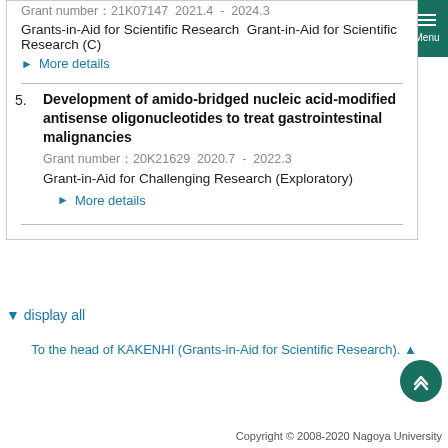Grant number：21K07147  2021.4  -  2024.3
Grants-in-Aid for Scientific Research  Grant-in-Aid for Scientific Research (C)
▶  More details
5. Development of amido-bridged nucleic acid-modified antisense oligonucleotides to treat gastrointestinal malignancies
Grant number：20K21629  2020.7  -  2022.3
Grant-in-Aid for Challenging Research (Exploratory)
▶  More details
▼ display all
To the head of KAKENHI (Grants-in-Aid for Scientific Research). ▲
Copyright © 2008-2020 Nagoya University